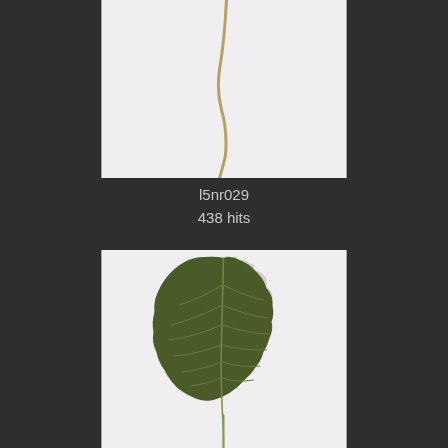[Figure (photo): Top portion of a botanical specimen scan showing the upper stem/petiole of a leaf against a light background]
l5nr029
438 hits
[Figure (photo): Full botanical specimen scan of a broad ovate leaf with serrated margins and prominent venation, shown on a light background with a visible petiole/stem at the bottom]